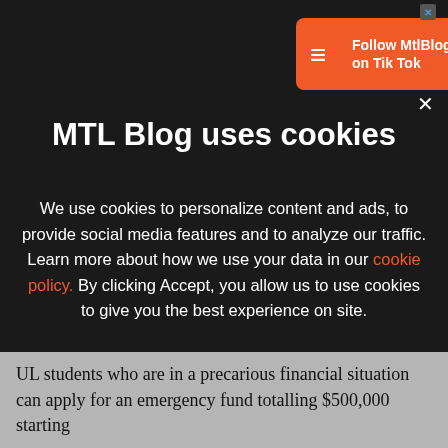[Figure (other): Orange banner advertisement: MTLBlog logo, 'Follow MtlBlog on Tik Tok', and 'See Here' button with a close X]
MTL Blog uses cookies
We use cookies to personalize content and ads, to provide social media features and to analyze our traffic. Learn more about how we use your data in our cookie policy. By clicking Accept, you allow us to use cookies to give you the best experience on site.
Accept
UL students who are in a precarious financial situation can apply for an emergency fund totalling $500,000 starting